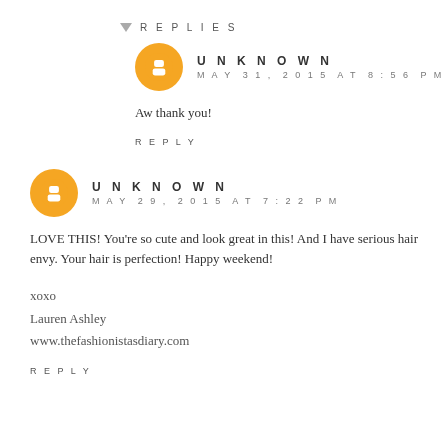REPLIES
UNKNOWN
MAY 31, 2015 AT 8:56 PM
Aw thank you!
REPLY
UNKNOWN
MAY 29, 2015 AT 7:22 PM
LOVE THIS! You're so cute and look great in this! And I have serious hair envy. Your hair is perfection! Happy weekend!

xoxo
Lauren Ashley
www.thefashionistasdiary.com
REPLY